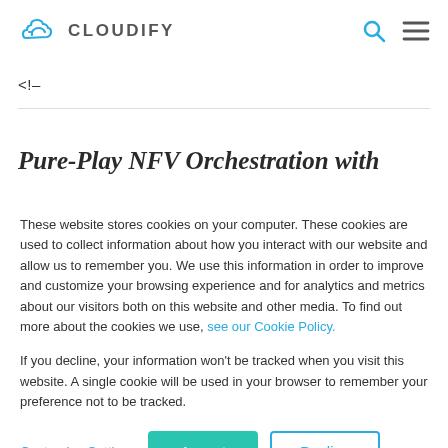CLOUDIFY
<!--
Pure-Play NFV Orchestration with
These website stores cookies on your computer. These cookies are used to collect information about how you interact with our website and allow us to remember you. We use this information in order to improve and customize your browsing experience and for analytics and metrics about our visitors both on this website and other media. To find out more about the cookies we use, see our Cookie Policy.
If you decline, your information won't be tracked when you visit this website. A single cookie will be used in your browser to remember your preference not to be tracked.
Customize Settings  Accept  Decline